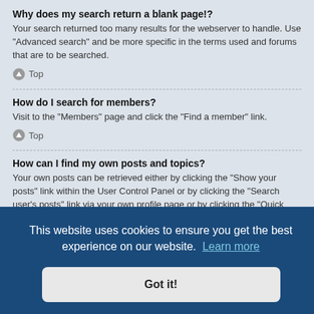Why does my search return a blank page!?
Your search returned too many results for the webserver to handle. Use “Advanced search” and be more specific in the terms used and forums that are to be searched.
Top
How do I search for members?
Visit to the “Members” page and click the “Find a member” link.
Top
How can I find my own posts and topics?
Your own posts can be retrieved either by clicking the “Show your posts” link within the User Control Panel or by clicking the “Search user’s posts” link via your own profile page or by clicking the “Quick links” menu at the top of the
[Figure (screenshot): Cookie consent banner with dark blue background reading 'This website uses cookies to ensure you get the best experience on our website. Learn more' and a 'Got it!' button]
In phpBB 3.0, bookmarking topics worked much like bookmarking in a web browser. You were not alerted when there was an update. As of phpBB 3.1